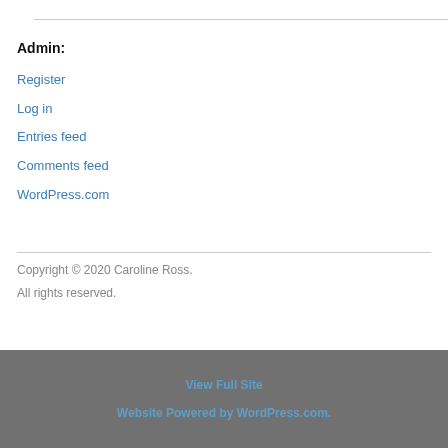Admin:
Register
Log in
Entries feed
Comments feed
WordPress.com
Copyright © 2020 Caroline Ross.
All rights reserved.
View Full Site
Website Powered by WordPress.com.